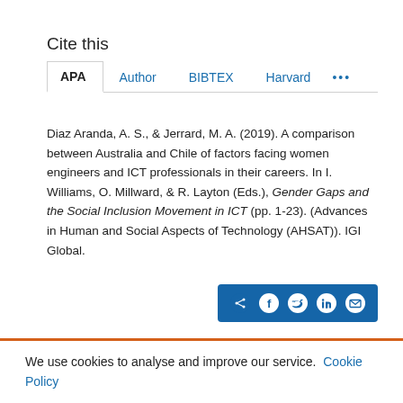Cite this
APA  Author  BIBTEX  Harvard  ...
Diaz Aranda, A. S., & Jerrard, M. A. (2019). A comparison between Australia and Chile of factors facing women engineers and ICT professionals in their careers. In I. Williams, O. Millward, & R. Layton (Eds.), Gender Gaps and the Social Inclusion Movement in ICT (pp. 1-23). (Advances in Human and Social Aspects of Technology (AHSAT)). IGI Global.
[Figure (other): Social sharing icon bar with share, Facebook, Twitter, LinkedIn, and email icons on a blue background]
We use cookies to analyse and improve our service. Cookie Policy